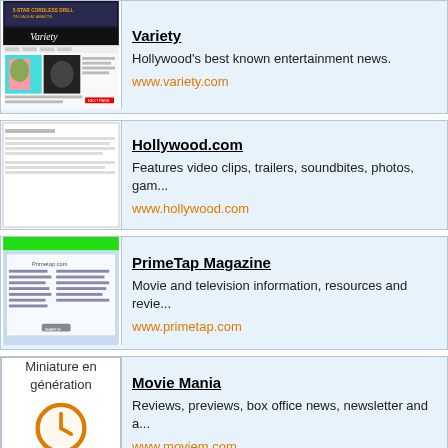[Figure (screenshot): Variety website screenshot thumbnail]
Variety
Hollywood's best known entertainment news.
www.variety.com
[Figure (screenshot): Hollywood.com website screenshot thumbnail]
Hollywood.com
Features video clips, trailers, soundbites, photos, ga...
www.hollywood.com
[Figure (screenshot): PrimeTap.com website screenshot thumbnail with green header]
PrimeTap Magazine
Movie and television information, resources and revie...
www.primetap.com
[Figure (other): Miniature en generation placeholder with clock icon and robothumb.com branding]
Movie Mania
Reviews, previews, box office news, newsletter and a...
www.moviem.com